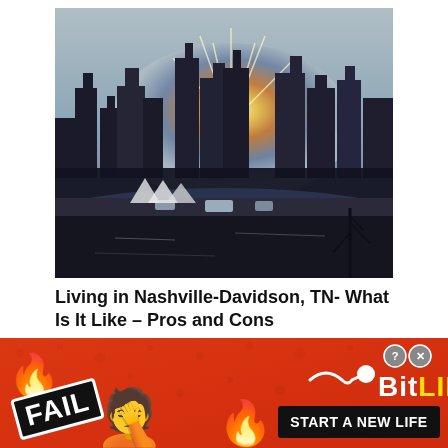[Figure (photo): Sunset skyline of Nashville, Tennessee with city skyscrapers silhouetted against a sunburst sky, with the Cumberland River in the foreground and a road with vehicles along the riverbank.]
Living in Nashville-Davidson, TN- What Is It Like – Pros and Cons
[Figure (infographic): BitLife mobile game advertisement banner with orange/red background, FAIL badge, fire emojis, facepalm emoji, sperm icon, BitLife logo, and 'START A NEW LIFE' button with close/info buttons in top right.]